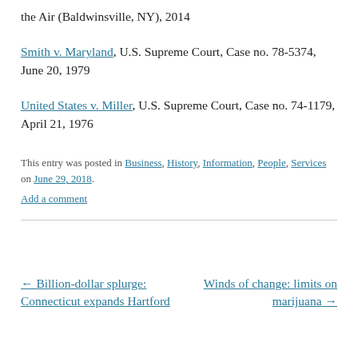the Air (Baldwinsville, NY), 2014
Smith v. Maryland, U.S. Supreme Court, Case no. 78-5374, June 20, 1979
United States v. Miller, U.S. Supreme Court, Case no. 74-1179, April 21, 1976
This entry was posted in Business, History, Information, People, Services on June 29, 2018.
Add a comment
← Billion-dollar splurge: Connecticut expands Hartford
Winds of change: limits on marijuana →